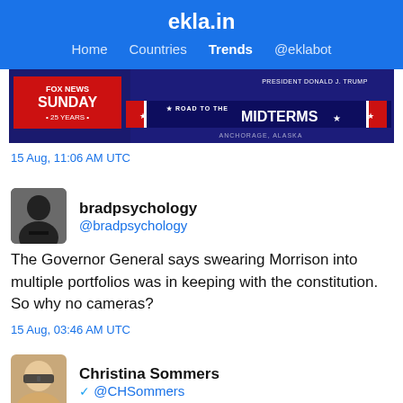ekla.in — Home  Countries  Trends  @eklabot
[Figure (screenshot): Fox News Sunday 25 Years banner with Road to the Midterms graphic, President Donald J. Trump, Anchorage Alaska]
15 Aug, 11:06 AM UTC
bradpsychology @bradpsychology
The Governor General says swearing Morrison into multiple portfolios was in keeping with the constitution. So why no cameras?
15 Aug, 03:46 AM UTC
Christina Sommers @CHSommers